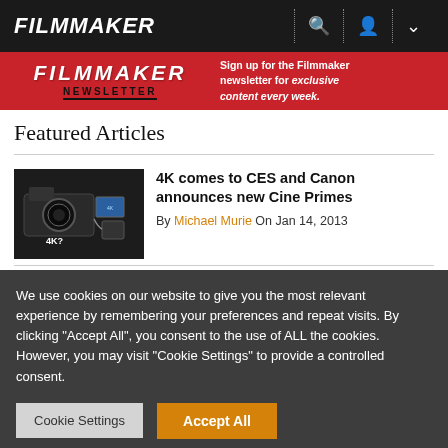FILMMAKER
[Figure (screenshot): Filmmaker newsletter banner with red background, FILMMAKER logo and NEWSLETTER text on left, signup text on right]
Featured Articles
[Figure (photo): Camera with 4K? label and accessories]
4K comes to CES and Canon announces new Cine Primes
By Michael Murie On Jan 14, 2013
[Figure (photo): Green/outdoor camera image]
A Digital Camera Built Like a Film Camera:
We use cookies on our website to give you the most relevant experience by remembering your preferences and repeat visits. By clicking "Accept All", you consent to the use of ALL the cookies. However, you may visit "Cookie Settings" to provide a controlled consent.